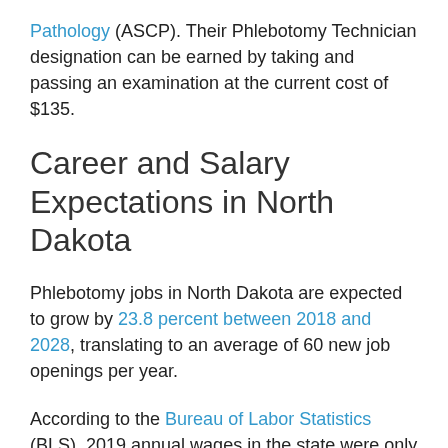Pathology (ASCP). Their Phlebotomy Technician designation can be earned by taking and passing an examination at the current cost of $135.
Career and Salary Expectations in North Dakota
Phlebotomy jobs in North Dakota are expected to grow by 23.8 percent between 2018 and 2028, translating to an average of 60 new job openings per year.
According to the Bureau of Labor Statistics (BLS), 2019 annual wages in the state were only slightly below the national average, with a range of $28,450 to $46,910. Entry-level phlebotomists should expect salaries closer to the lower end of